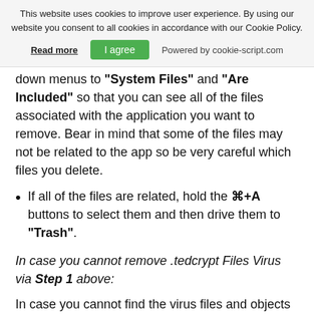This website uses cookies to improve user experience. By using our website you consent to all cookies in accordance with our Cookie Policy. Read more | I agree | Powered by cookie-script.com
down menus to "System Files" and "Are Included" so that you can see all of the files associated with the application you want to remove. Bear in mind that some of the files may not be related to the app so be very careful which files you delete.
If all of the files are related, hold the ⌘+A buttons to select them and then drive them to "Trash".
In case you cannot remove .tedcrypt Files Virus via Step 1 above:
In case you cannot find the virus files and objects in your Applications or other places we have shown above, you can manually look for them in